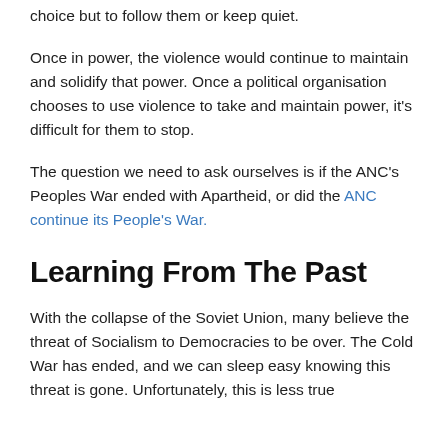choice but to follow them or keep quiet.
Once in power, the violence would continue to maintain and solidify that power. Once a political organisation chooses to use violence to take and maintain power, it's difficult for them to stop.
The question we need to ask ourselves is if the ANC’s Peoples War ended with Apartheid, or did the ANC continue its People’s War.
Learning From The Past
With the collapse of the Soviet Union, many believe the threat of Socialism to Democracies to be over. The Cold War has ended, and we can sleep easy knowing this threat is gone. Unfortunately, this is less true